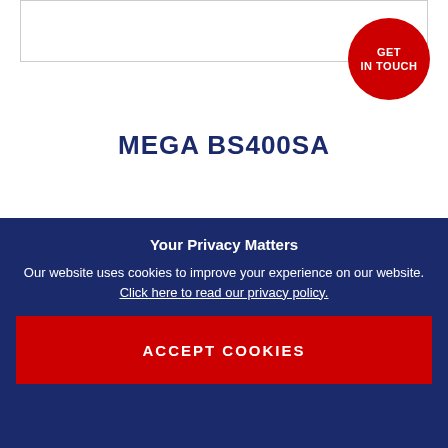MEGA BS400SA
READ MORE
Your Privacy Matters
Our website uses cookies to improve your experience on our website. Click here to read our privacy policy.
ACCEPT COOKIES